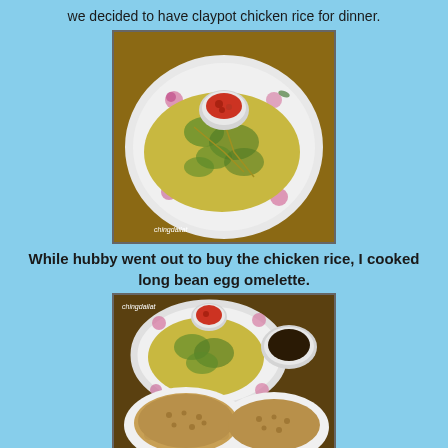we decided to have claypot chicken rice for dinner.
[Figure (photo): Overhead view of a white floral plate with long bean egg omelette (yellow-green pancake-like dish) with a small bowl of red chili sauce on top. Watermark reads 'chingdailat'.]
While hubby went out to buy the chicken rice, I cooked long bean egg omelette.
[Figure (photo): Table view showing the white floral plate with long bean egg omelette, a small bowl of red chili sauce, another bowl of dark soy sauce, and two plates of claypot chicken rice below. Watermark reads 'chingdailat'.]